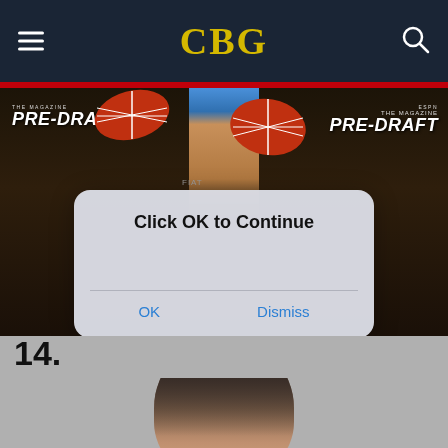CBG
[Figure (photo): ESPN The Magazine Pre-Draft sports photo showing legs of a person in blue shorts with Pre-Draft signage and footballs visible. An iOS-style dialog box overlays: 'Click OK to Continue' with OK and Dismiss buttons.]
14.
[Figure (photo): Bottom portion of a person's head with dark hair, shown from the top of the head against a gray background.]